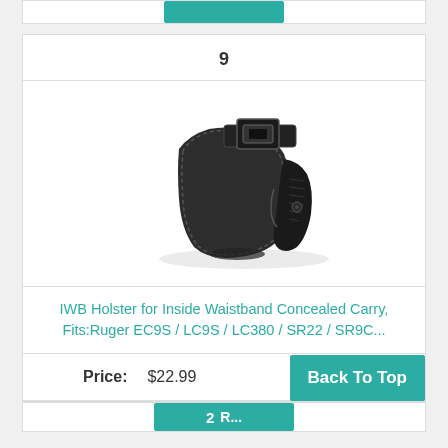[Figure (other): Partial teal button at top of page from previous product listing]
9
[Figure (photo): Black leather IWB holster with a compact pistol inserted, showing belt clip on top]
IWB Holster for Inside Waistband Concealed Carry, Fits:Ruger EC9S / LC9S / LC380 / SR22 / SR9C...
Price: $22.99
Back To Top
[Figure (other): Partial teal button at bottom of page for next product listing]